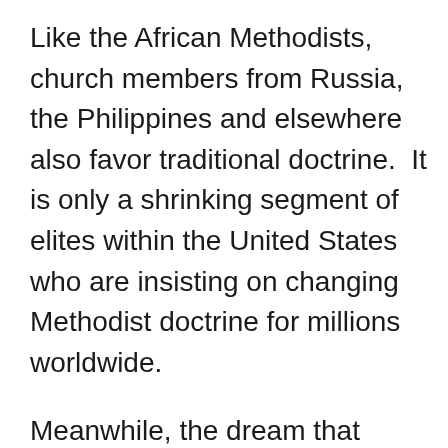Like the African Methodists, church members from Russia, the Philippines and elsewhere also favor traditional doctrine.  It is only a shrinking segment of elites within the United States who are insisting on changing Methodist doctrine for millions worldwide.
Meanwhile, the dream that there would be a clean schism into two healthy parts of the UMC, if the separation plan is adopted in May, is vanishing.  Some traditionalists resist leaving after the takeover, while others considering departure are unsure where they